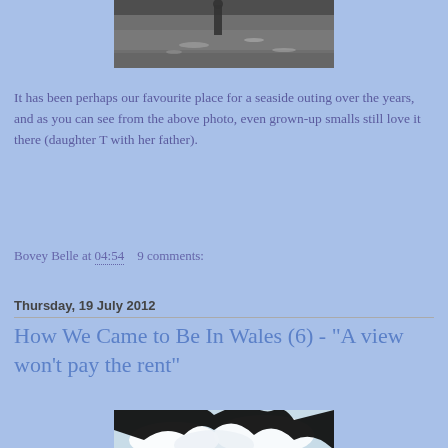[Figure (photo): Black and white photo of a person in water, likely at a seaside location, partially cropped at top of page]
It has been perhaps our favourite place for a seaside outing over the years, and as you can see from the above photo, even grown-up smalls still love it there (daughter T with her father).
Bovey Belle at 04:54    9 comments:
Thursday, 19 July 2012
How We Came to Be In Wales (6) - "A view won't pay the rent"
[Figure (photo): Photo of sky with clouds and silhouetted tree branches at top, partially cropped at bottom of page]